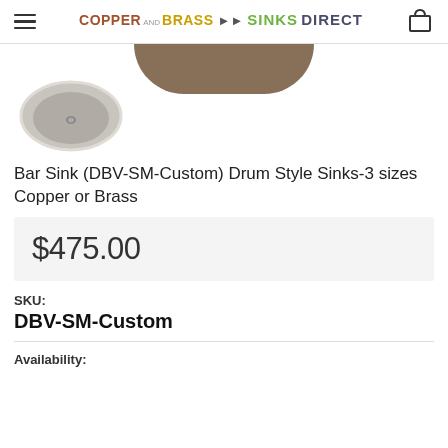Copper and Brass Sinks Direct
[Figure (photo): Top partial view of a dark copper/brass drum-style bar sink, and a small round grey bar sink thumbnail below it]
Bar Sink (DBV-SM-Custom) Drum Style Sinks-3 sizes Copper or Brass
$475.00
SKU:
DBV-SM-Custom
Availability: